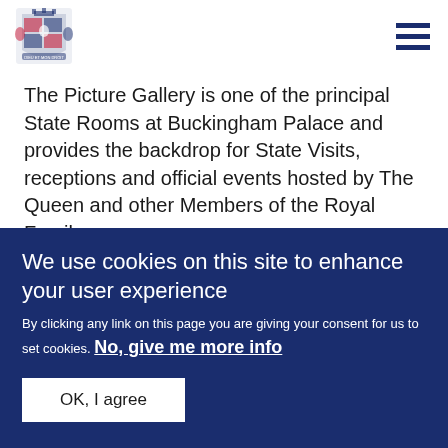[Figure (logo): Royal coat of arms crest logo for the Royal Collection / Buckingham Palace website]
The Picture Gallery is one of the principal State Rooms at Buckingham Palace and provides the backdrop for State Visits, receptions and official events hosted by The Queen and other Members of the Royal Family.
It is home to some of the best-known paintings in the
We use cookies on this site to enhance your user experience
By clicking any link on this page you are giving your consent for us to set cookies. No, give me more info
OK, I agree